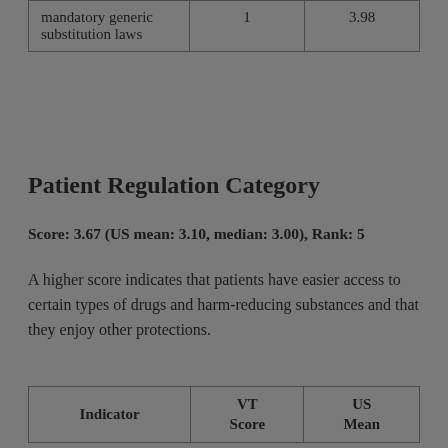| Indicator | VT Score | US Mean |
| --- | --- | --- |
| mandatory generic substitution laws | 1 | 3.98 |
Patient Regulation Category
Score: 3.67 (US mean: 3.10, median: 3.00), Rank: 5
A higher score indicates that patients have easier access to certain types of drugs and harm-reducing substances and that they enjoy other protections.
| Indicator | VT Score | US Mean |
| --- | --- | --- |